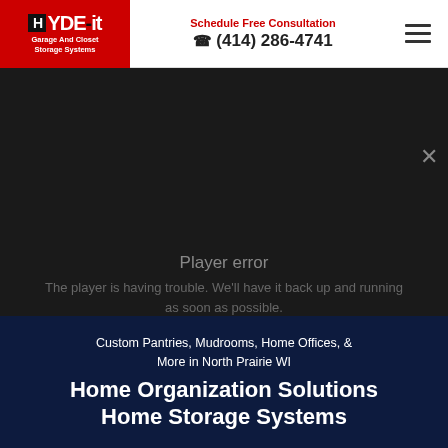[Figure (logo): HYDE-it Garage And Closet Storage Systems logo on red background]
Schedule Free Consultation
☎ (414) 286-4741
[Figure (other): Hamburger menu icon (three horizontal lines)]
[Figure (screenshot): Video player area showing error message: Player error. The player is having trouble. We'll have it back up and running as soon as possible.]
Custom Pantries, Mudrooms, Home Offices, & More in North Prairie WI
Home Organization Solutions
Home Storage Systems